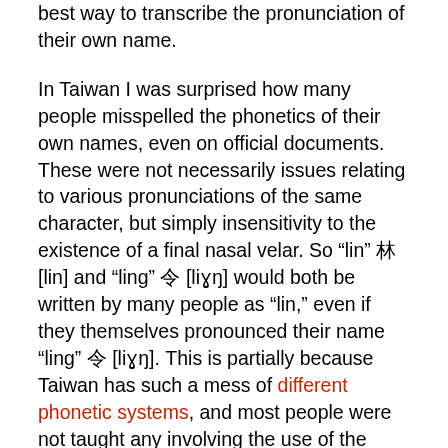best way to transcribe the pronunciation of their own name.
In Taiwan I was surprised how many people misspelled the phonetics of their own names, even on official documents. These were not necessarily issues relating to various pronunciations of the same character, but simply insensitivity to the existence of a final nasal velar. So "lin" 林[lin] and "ling" 令 [liɤŋ] would both be written by many people as "lin," even if they themselves pronounced their name "ling" 令 [liɤŋ]. This is partially because Taiwan has such a mess of different phonetic systems, and most people were not taught any involving the use of the Latin alphabet until recently. I quickly learned never to trust native speaker's own